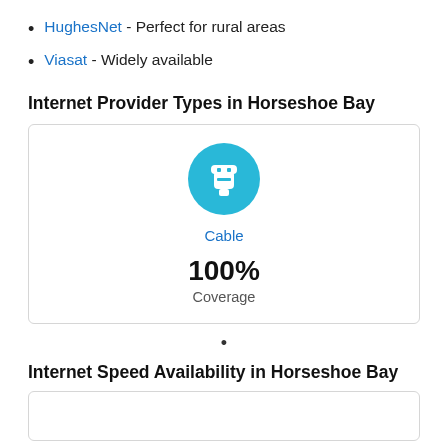HughesNet - Perfect for rural areas
Viasat - Widely available
Internet Provider Types in Horseshoe Bay
[Figure (infographic): A teal circular icon with a white cable/satellite dish symbol, labeled 'Cable' in blue, with '100%' in bold and 'Coverage' below it, inside a bordered card.]
•
Internet Speed Availability in Horseshoe Bay